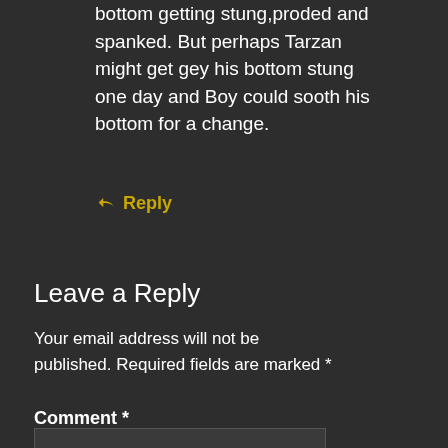bottom getting stung,proded and spanked. But perhaps Tarzan might get gey his bottom stung one day and Boy could sooth his bottom for a change.
↩ Reply
Leave a Reply
Your email address will not be published. Required fields are marked *
Comment *